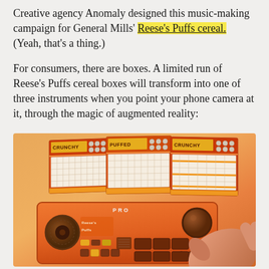Creative agency Anomaly designed this music-making campaign for General Mills' Reese's Puffs cereal. (Yeah, that's a thing.)

For consumers, there are boxes. A limited run of Reese's Puffs cereal boxes will transform into one of three instruments when you point your phone camera at it, through the magic of augmented reality:
[Figure (photo): Three orange Reese's Puffs cereal boxes styled as music instruments/beat machines displayed on an orange gradient background, with a hand operating an orange drum pad machine in the foreground. The boxes are designed to look like sequencer or beat-making equipment with grids, knobs, and buttons.]